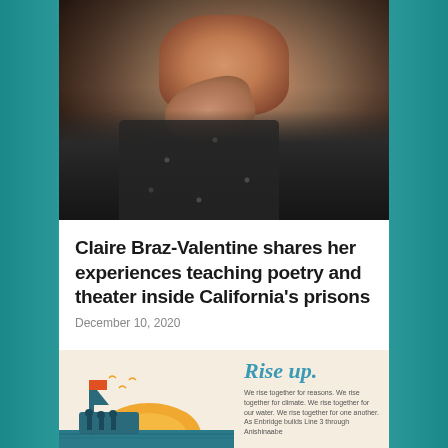[Figure (photo): Portrait photograph of a woman resting her chin on her hand, wearing dark clothing with a leopard print top and dangling earrings, dark background]
Claire Braz-Valentine shares her experiences teaching poetry and theater inside California's prisons
December 10, 2020
[Figure (illustration): Illustrated graphic with teal silhouette of people on a boat with an orange sunrise and birds, on a beige background. Text reads: 'Rise up. We rise together for reasons. We rise together for climate. We rise together for our water. We rise together for one another. As Enbridge builds Line 3 through Anishinaabe']